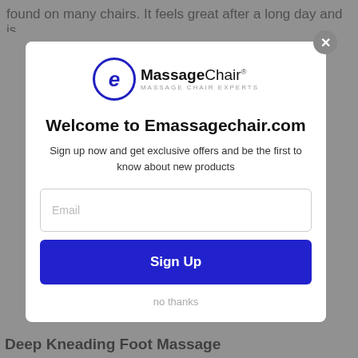found on many chairs. It feels great after a long day and is
[Figure (screenshot): eMassageChair logo with blue circle containing italic letter e, followed by bold 'Massage' and regular 'Chair' text with registered trademark symbol, and subtitle 'MASSAGE CHAIR EXPERTS']
Welcome to Emassagechair.com
Sign up now and get exclusive offers and be the first to know about new products
Email
Sign Up
no thanks
Deep Kneading Foot Massage